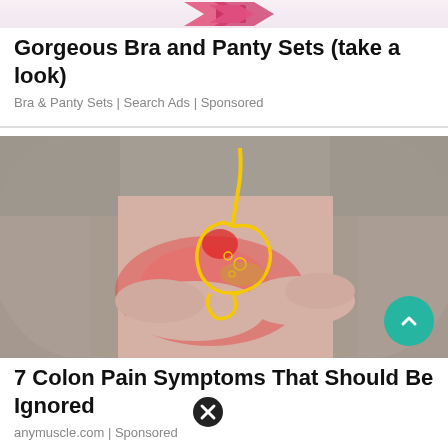[Figure (photo): Partial view of a pink/magenta chevron or arrow logo at top, cropped]
Gorgeous Bra and Panty Sets (take a look)
Bra & Panty Sets | Search Ads | Sponsored
[Figure (photo): Medical illustration of a person holding their stomach with an anatomical overlay showing the stomach and colon highlighted in red and yellow, indicating colon pain]
7 Colon Pain Symptoms That Should Be Ignored
anymuscle.com | Sponsored